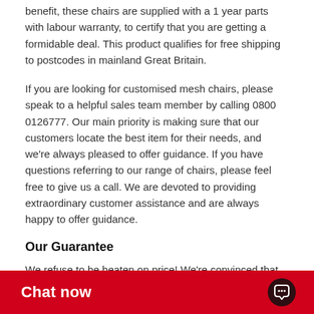benefit, these chairs are supplied with a 1 year parts with labour warranty, to certify that you are getting a formidable deal. This product qualifies for free shipping to postcodes in mainland Great Britain.
If you are looking for customised mesh chairs, please speak to a helpful sales team member by calling 0800 0126777. Our main priority is making sure that our customers locate the best item for their needs, and we're always pleased to offer guidance. If you have questions referring to our range of chairs, please feel free to give us a call. We are devoted to providing extraordinary customer assistance and are always happy to offer guidance.
Our Guarantee
We refuse to be beaten on price! We're convinced that we deliver the best online prices, due to this certainty we're pleased to offer a 100% price match guarantee. Should you see this ergonomic mesh chair being sold at a cheaper price on any other website we will match that offer.
Once you buy a ergonomic mesh chair from The Wholesale Depot you'll never want to return t...
Chat now